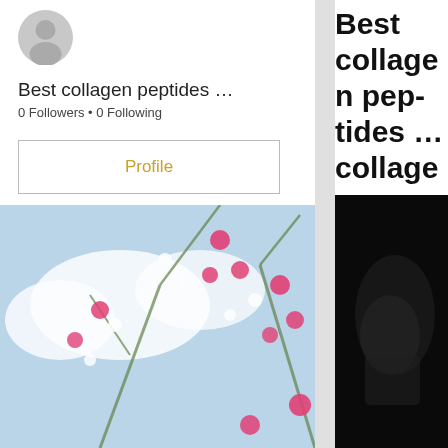[Figure (photo): Circular avatar/profile picture placeholder (gray circle, partially visible)]
Best collagen peptides …
0 Followers • 0 Following
Profile
[Figure (photo): Blurred photo of flowering plant branches with pink and white flowers against a blue sky background]
Best collagen peptides … collagen pep…
Best collagen peptide…
Buy anabolic steroids…
[Figure (photo): Dark/black blurred image, partially visible on right side]